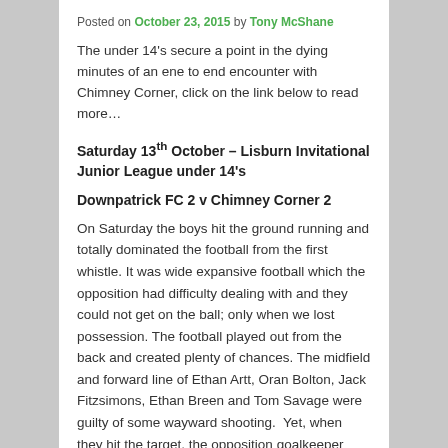Posted on October 23, 2015 by Tony McShane
The under 14's secure a point in the dying minutes of an ene to end encounter with Chimney Corner, click on the link below to read more…
Saturday 13th October – Lisburn Invitational Junior League under 14's
Downpatrick FC 2 v Chimney Corner 2
On Saturday the boys hit the ground running and totally dominated the football from the first whistle. It was wide expansive football which the opposition had difficulty dealing with and they could not get on the ball; only when we lost possession. The football played out from the back and created plenty of chances. The midfield and forward line of Ethan Artt, Oran Bolton, Jack Fitzsimons, Ethan Breen and Tom Savage were guilty of some wayward shooting.  Yet, when they hit the target, the opposition goalkeeper was in scintillating form. He kept the ball from